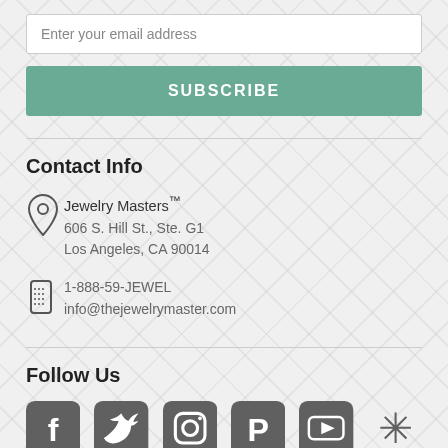Enter your email address
SUBSCRIBE
Contact Info
Jewelry Masters™
606 S. Hill St., Ste. G1
Los Angeles, CA 90014
1-888-59-JEWEL
info@thejewelrymaster.com
Follow Us
[Figure (infographic): Row of 6 social media icons: Facebook, Twitter, Instagram, Pinterest, YouTube, Yelp]